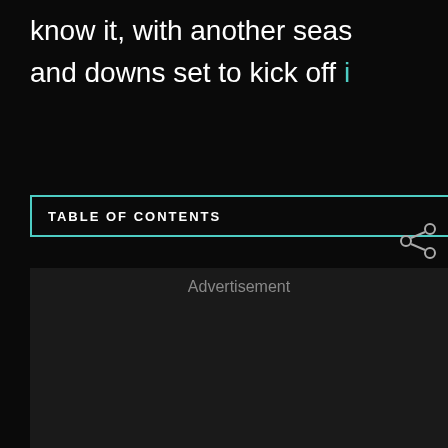know it, with another seas and downs set to kick off i
TABLE OF CONTENTS
We've got you covered for everything you need to know about the BEST superstar youngsters that will help your team for years to come in FM23.
Advertisement